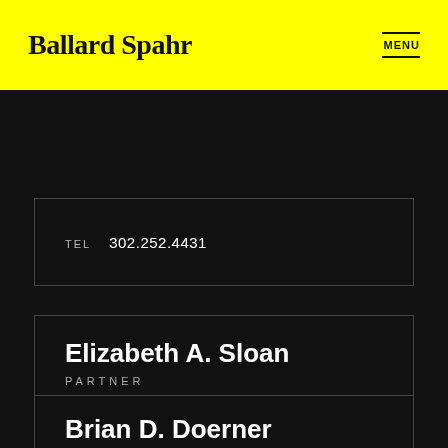Ballard Spahr | MENU
TEL  302.252.4431
Elizabeth A. Sloan
PARTNER
sloane@ballardspahr.com
TEL  302.252.4458
Brian D. Doerner